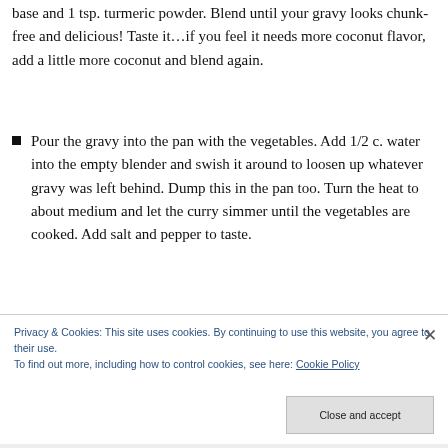base and 1 tsp. turmeric powder. Blend until your gravy looks chunk-free and delicious! Taste it…if you feel it needs more coconut flavor, add a little more coconut and blend again.
Pour the gravy into the pan with the vegetables. Add 1/2 c. water into the empty blender and swish it around to loosen up whatever gravy was left behind. Dump this in the pan too. Turn the heat to about medium and let the curry simmer until the vegetables are cooked. Add salt and pepper to taste.
Privacy & Cookies: This site uses cookies. By continuing to use this website, you agree to their use. To find out more, including how to control cookies, see here: Cookie Policy
Close and accept